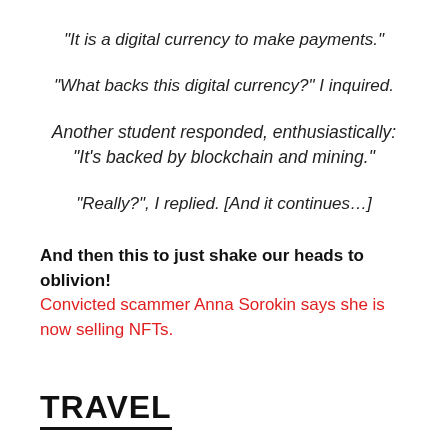“It is a digital currency to make payments.”
“What backs this digital currency?” I inquired.
Another student responded, enthusiastically: “It’s backed by blockchain and mining.”
“Really?”, I replied. [And it continues…]
And then this to just shake our heads to oblivion! Convicted scammer Anna Sorokin says she is now selling NFTs.
TRAVEL